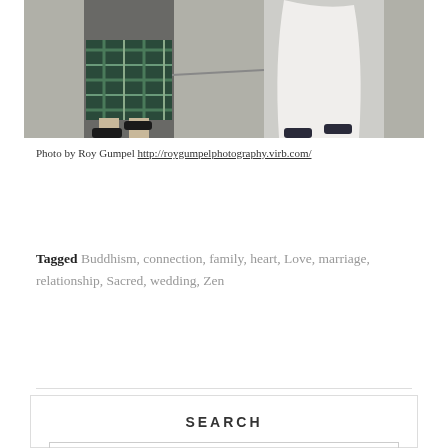[Figure (photo): Wedding photo showing a person in a tartan kilt and a person in a white wedding dress, connected by a thin stick/wand, standing on a gravel path.]
Photo by Roy Gumpel http://roygumpelphotography.virb.com/
Tagged Buddhism, connection, family, heart, Love, marriage, relationship, Sacred, wedding, Zen
SEARCH